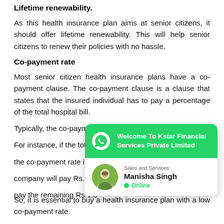Lifetime renewability.
As this health insurance plan aims at senior citizens, it should offer lifetime renewability. This will help senior citizens to renew their policies with no hassle.
Co-payment rate
Most senior citizen health insurance plans have a co-payment clause. The co-payment clause is a clause that states that the insured individual has to pay a percentage of the total hospital bill.
Typically, the co-payment rates can range from 20% to 50%.
For instance, if the total hospital bill is Rs.5 lakh and the co-payment rate is 30%, then the insurance company will pay Rs.3.5 lakh and the insured will pay the remaining Rs.1.5 lakh.
[Figure (screenshot): WhatsApp chat widget popup from Kstar Financial Services Private Limited with agent Manisha Singh shown as Online]
So, it is essential to buy a health insurance plan with a low co-payment rate.